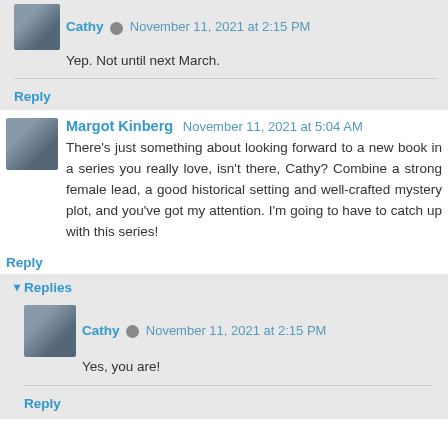Cathy November 11, 2021 at 2:15 PM
Yep. Not until next March.
Reply
Margot Kinberg November 11, 2021 at 5:04 AM
There's just something about looking forward to a new book in a series you really love, isn't there, Cathy? Combine a strong female lead, a good historical setting and well-crafted mystery plot, and you've got my attention. I'm going to have to catch up with this series!
Reply
Replies
Cathy November 11, 2021 at 2:15 PM
Yes, you are!
Reply